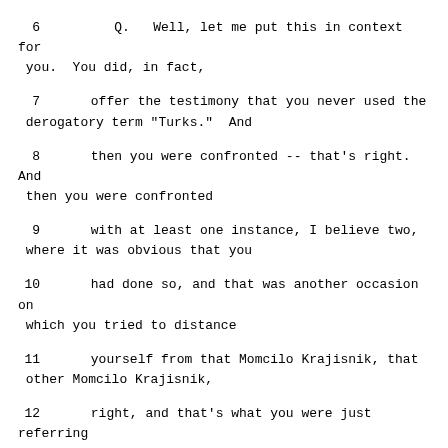6        Q.   Well, let me put this in context for you.  You did, in fact,
7      offer the testimony that you never used the derogatory term "Turks."  And
8      then you were confronted -- that's right.  And then you were confronted
9      with at least one instance, I believe two, where it was obvious that you
10     had done so, and that was another occasion on which you tried to distance
11     yourself from that Momcilo Krajisnik, that other Momcilo Krajisnik,
12     right, and that's what you were just referring